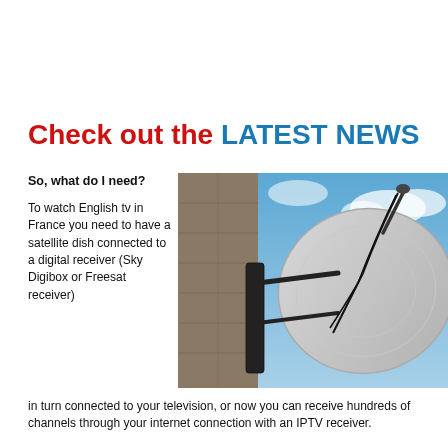Check out the LATEST NEWS
So, what do I need?
[Figure (photo): A satellite dish mounted on a stone building wall against a blue sky background]
To watch English tv in France you need to have a satellite dish connected to a digital receiver (Sky Digibox or Freesat receiver) in turn connected to your television, or now you can receive hundreds of channels through your internet connection with an IPTV receiver.